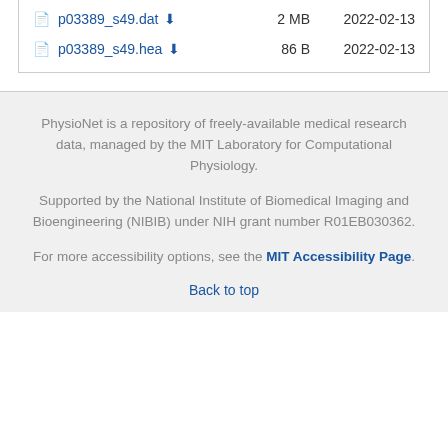| File |  | Size | Date |
| --- | --- | --- | --- |
| p03389_s49.dat | ⬇ | 2 MB | 2022-02-13 |
| p03389_s49.hea | ⬇ | 86 B | 2022-02-13 |
PhysioNet is a repository of freely-available medical research data, managed by the MIT Laboratory for Computational Physiology.
Supported by the National Institute of Biomedical Imaging and Bioengineering (NIBIB) under NIH grant number R01EB030362.
For more accessibility options, see the MIT Accessibility Page.
Back to top